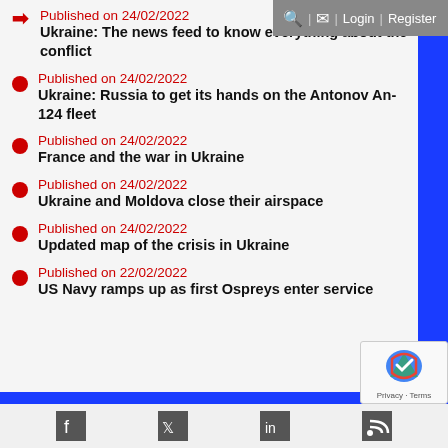Search | Mail | Login | Register
Published on 24/02/2022
Ukraine: The news feed to know everything about the conflict
Published on 24/02/2022
Ukraine: Russia to get its hands on the Antonov An-124 fleet
Published on 24/02/2022
France and the war in Ukraine
Published on 24/02/2022
Ukraine and Moldova close their airspace
Published on 24/02/2022
Updated map of the crisis in Ukraine
Published on 22/02/2022
US Navy ramps up as first Ospreys enter service
Social media icons: Facebook, Twitter, LinkedIn, RSS